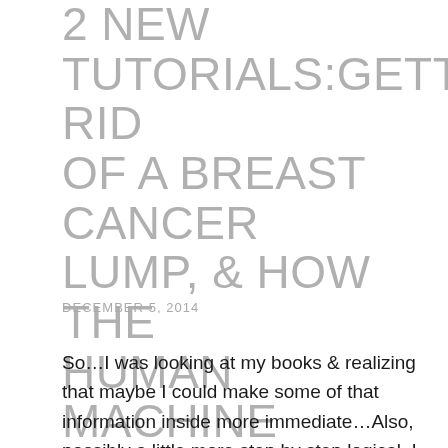2 NEW TUTORIALS:GETTING RID OF A BREAST CANCER LUMP, & HOW THE HUMAN MACHINE WORKS(& HOW TO REPAIR IT)…BY SARI GROVE
DECEMBER 5, 2014
So…I was looking at my books & realizing that maybe I could make some of that information inside more immediate…Also, possibly a little more step by step logical. I have been thinking of